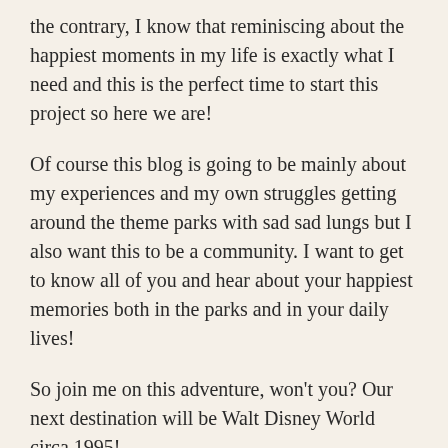the contrary, I know that reminiscing about the happiest moments in my life is exactly what I need and this is the perfect time to start this project so here we are!
Of course this blog is going to be mainly about my experiences and my own struggles getting around the theme parks with sad sad lungs but I also want this to be a community. I want to get to know all of you and hear about your happiest memories both in the parks and in your daily lives!
So join me on this adventure, won't you? Our next destination will be Walt Disney World circa 1995!
Share this:
Twitter  Facebook